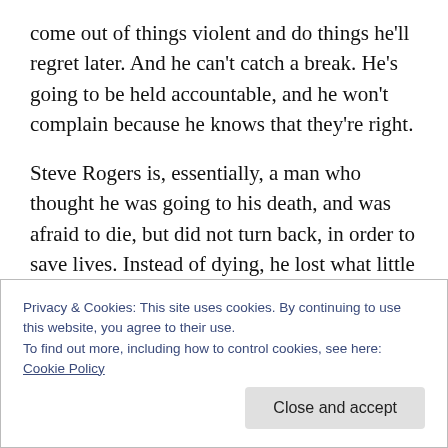come out of things violent and do things he'll regret later. And he can't catch a break. He's going to be held accountable, and he won't complain because he knows that they're right.
Steve Rogers is, essentially, a man who thought he was going to his death, and was afraid to die, but did not turn back, in order to save lives. Instead of dying, he lost what little he did have, everything that was remotely his, or even just familiar. He's terrified of losing it all again, and yet, instead of closing off, he goes on to create new
Privacy & Cookies: This site uses cookies. By continuing to use this website, you agree to their use.
To find out more, including how to control cookies, see here: Cookie Policy